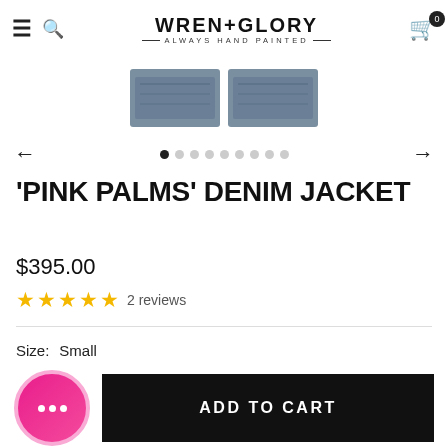WREN+GLORY — ALWAYS HAND PAINTED
[Figure (photo): Partial view of a denim jacket, two cropped thumbnail images showing denim fabric detail]
'PINK PALMS' DENIM JACKET
$395.00
★★★★★ 2 reviews
Size:  Small
ADD TO CART